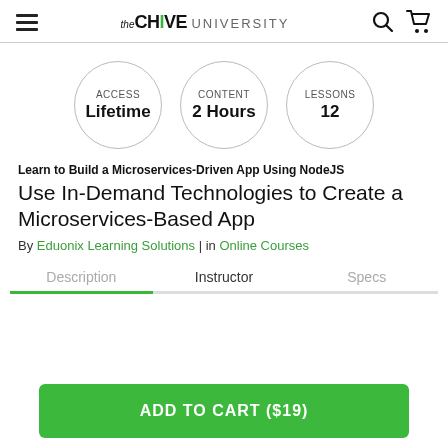the CHIVE UNIVERSITY
[Figure (infographic): Three circular badges: ACCESS Lifetime, CONTENT 2 Hours, LESSONS 12]
Learn to Build a Microservices-Driven App Using NodeJS
Use In-Demand Technologies to Create a Microservices-Based App
By Eduonix Learning Solutions | in Online Courses
Description | Instructor | Specs
ADD TO CART ($19)